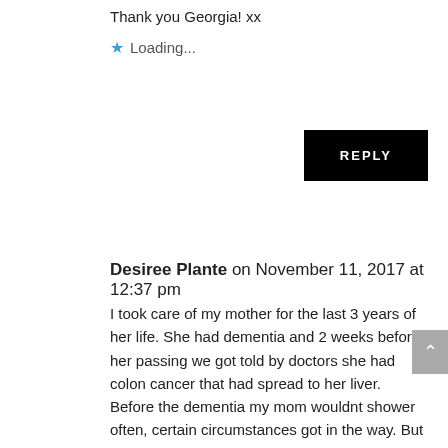Thank you Georgia! xx
Loading...
REPLY
Desiree Plante on November 11, 2017 at 12:37 pm
I took care of my mother for the last 3 years of her life. She had dementia and 2 weeks before her passing we got told by doctors she had colon cancer that had spread to her liver. Before the dementia my mom wouldnt shower often, certain circumstances got in the way. But when i started caring for her, I was able to get her bathe regularly. As her condition worsened and not knowing about the cancer, I would lift her and carry her to the bath, clean her up, dry her off, carry her back to her bed, and dress her. She didnt give me a hard time about bathing.